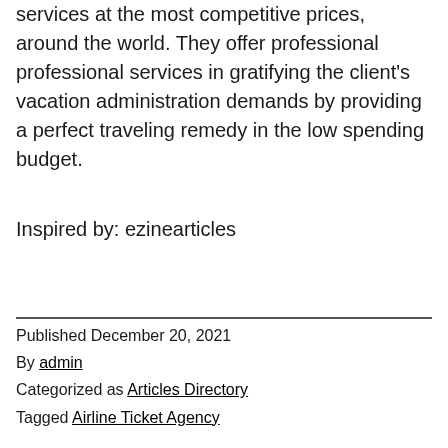services at the most competitive prices, around the world. They offer professional professional services in gratifying the client's vacation administration demands by providing a perfect traveling remedy in the low spending budget.
Inspired by: ezinearticles
Published December 20, 2021
By admin
Categorized as Articles Directory
Tagged Airline Ticket Agency